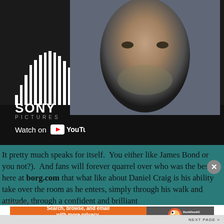[Figure (screenshot): Sony Pictures YouTube channel thumbnail showing a man's face (Daniel Craig), Sony Pictures logo with vertical bars, 'Watch on YouTube' text, a red YouTube play button in the top right, and the word 'OFFICIAL' in large white text on the right side.]
It pretty much speaks for itself. You either like James Bond or you not?). And fans will forever quarrel over who was the best here at borg.com that what like about Daniel Craig is his ability take over the room as he enters, simply through his walk and attitude, through a confident and brilliant...
Advertisements
[Figure (screenshot): DuckDuckGo advertisement banner: orange left section with text 'Search, browse, and email with more privacy. All in One Free App'; dark grey right section with DuckDuckGo duck logo and 'DuckDuckGo' text.]